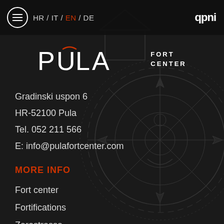HR / IT / EN / DE   qpni
[Figure (logo): Pula Fort Center logo — stylized text PULA with accent over U, followed by FORT CENTER in smaller caps]
Gradinski uspon 6
HR-52100 Pula
Tel. 052 211 566
E: info@pulafortcenter.com
MORE INFO
Fort center
Fortifications
Zerostrasse
Activities